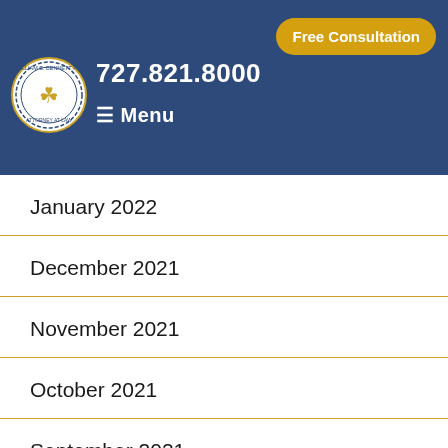William B. Bennett P.A. Attorney at Law | 727.821.8000 | Free Consultation | Menu
January 2022
December 2021
November 2021
October 2021
September 2021
August 2021